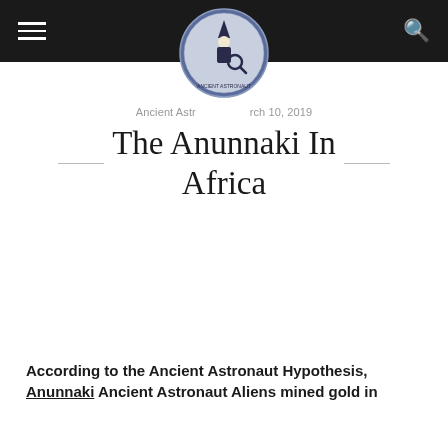Ancient Astronaut  ·  March 10, 2019
[Figure (logo): Circular logo with a figure wearing a pointed hat and magnifying glass, on a blue/grey background with text around the border]
The Anunnaki In Africa
According to the Ancient Astronaut Hypothesis, Anunnaki Ancient Astronaut Aliens mined gold in